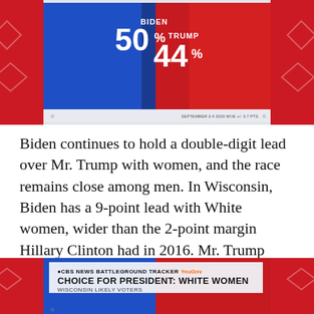[Figure (infographic): CBS News Battleground Tracker YouGov poll graphic showing Biden 50% vs Trump 44% for Wisconsin likely voters, September 2-4 2020, MOE +/- 3.7 pts. Split blue/red background with photos of Biden and Trump.]
Biden continues to hold a double-digit lead over Mr. Trump with women, and the race remains close among men. In Wisconsin, Biden has a 9-point lead with White women, wider than the 2-point margin Hillary Clinton had in 2016. Mr. Trump maintains his lead with White men but it is narrower than this 2016 margin.
[Figure (infographic): CBS News Battleground Tracker YouGov graphic header showing 'CHOICE FOR PRESIDENT: WHITE WOMEN - WISCONSIN LIKELY VOTERS' with partial view of Biden and Trump photos on blue and red backgrounds.]